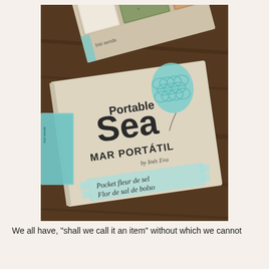[Figure (photo): A product photo showing a 'Portable Sea / Mar Portátil by Inés Eva' packaging box. The kraft paper box features large bold typography with 'Portable Sea' and 'MAR PORTÁTIL by Inés Eva' text, a light blue balloon with fish scale pattern, and a label reading 'Pocket fleur de sel / Flor de sal de bolso'. Behind it is an open box showing contents including salt and herbs. Background is a dark wooden surface.]
We all have, "shall we call it an item" without which we cannot